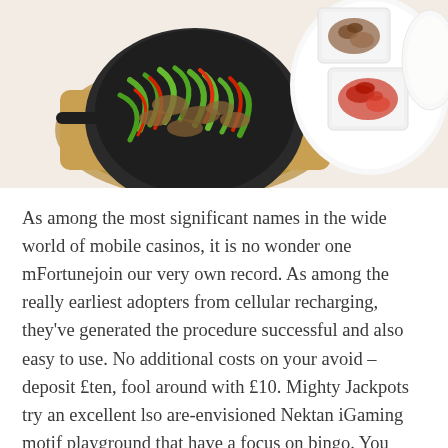[Figure (photo): Top-down photo of a cast iron skillet with stir-fried vegetables (green peppers, red peppers, mushrooms) on a wooden board, alongside white serving dishes containing what appears to be dried ingredients and a sauce.]
As among the most significant names in the wide world of mobile casinos, it is no wonder one mFortunejoin our very own record. As among the really earliest adopters from cellular recharging, they've generated the procedure successful and also easy to use. No additional costs on your avoid – deposit £ten, fool around with £10. Mighty Jackpots try an excellent lso are-envisioned Nektan iGaming motif playground that have a focus on bingo. You could potentially stay connected to MrQ incase and regardless of where you're as a result of